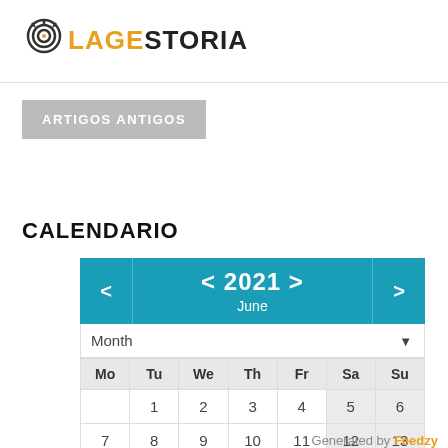[Figure (logo): LAGESTORIA logo with circular target/radio icon above text. 'LAGE' in orange, 'STORIA' in dark/black, bold uppercase letters.]
ARTIGOS ANTIGOS
CALENDARIO
| Mo | Tu | We | Th | Fr | Sa | Su |
| --- | --- | --- | --- | --- | --- | --- |
|  | 1 | 2 | 3 | 4 | 5 | 6 |
| 7 | 8 | 9 | 10 | 11 | 12 | 13 |
Generated by Feedzy